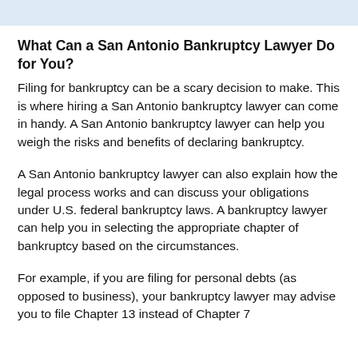What Can a San Antonio Bankruptcy Lawyer Do for You?
Filing for bankruptcy can be a scary decision to make. This is where hiring a San Antonio bankruptcy lawyer can come in handy. A San Antonio bankruptcy lawyer can help you weigh the risks and benefits of declaring bankruptcy.
A San Antonio bankruptcy lawyer can also explain how the legal process works and can discuss your obligations under U.S. federal bankruptcy laws. A bankruptcy lawyer can help you in selecting the appropriate chapter of bankruptcy based on the circumstances.
For example, if you are filing for personal debts (as opposed to business), your bankruptcy lawyer may advise you to file Chapter 13 instead of Chapter 7